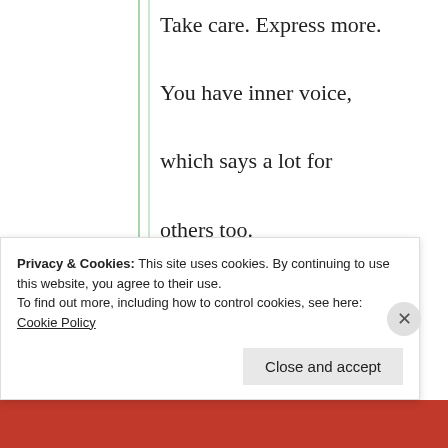Take care. Express more.

You have inner voice,

which says a lot for

others too.

Your poetries are the

expressions of human

life.

Thank you so much for

your kind words 😊🙏
★ Like
Privacy & Cookies: This site uses cookies. By continuing to use this website, you agree to their use.
To find out more, including how to control cookies, see here: Cookie Policy
Close and accept